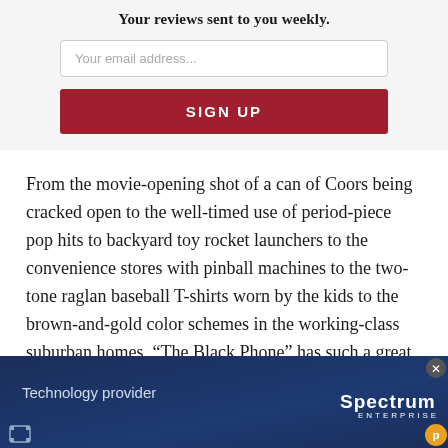Your reviews sent to you weekly.
Your email address...
SIGN UP
From the movie-opening shot of a can of Coors being cracked open to the well-timed use of period-piece pop hits to backyard toy rocket launchers to the convenience stores with pinball machines to the two-tone raglan baseball T-shirts worn by the kids to the brown-and-gold color schemes in the working-class suburban homes, “The Black Phone” has such a great 1978 vibe — and
[Figure (screenshot): Advertisement banner for Spectrum Enterprise with blue gradient background, showing 'Technology provider' text on left and Spectrum Enterprise logo on right, with close button and small icons.]